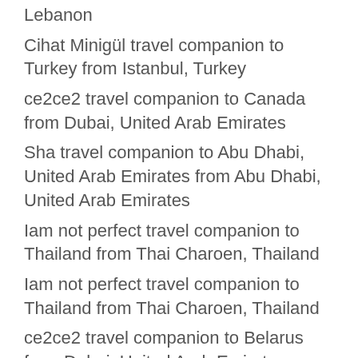Lebanon
Cihat Minigül travel companion to Turkey from Istanbul, Turkey
ce2ce2 travel companion to Canada from Dubai, United Arab Emirates
Sha travel companion to Abu Dhabi, United Arab Emirates from Abu Dhabi, United Arab Emirates
Iam not perfect travel companion to Thailand from Thai Charoen, Thailand
Iam not perfect travel companion to Thailand from Thai Charoen, Thailand
ce2ce2 travel companion to Belarus from Dubai, United Arab Emirates
Roberto Karma travel companion to Bangalore, India from Jakarta, Indonesia
Waldy Francisco travel companion to Miami, United States from Puerto Plata, Dominican Republic
William Bobby travel companion to Canada De Gomez, Argentina from Canmore, Canada
ce2ce2 travel companion to Canada from Dubai,